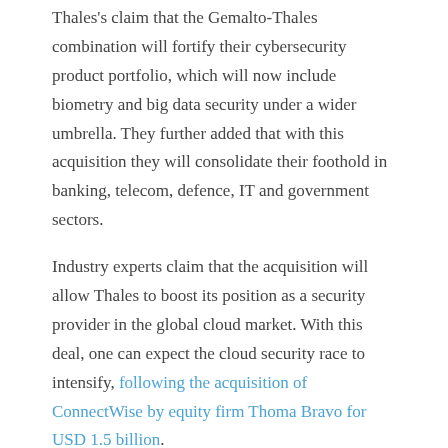Thales's claim that the Gemalto-Thales combination will fortify their cybersecurity product portfolio, which will now include biometry and big data security under a wider umbrella. They further added that with this acquisition they will consolidate their foothold in banking, telecom, defence, IT and government sectors.
Industry experts claim that the acquisition will allow Thales to boost its position as a security provider in the global cloud market. With this deal, one can expect the cloud security race to intensify, following the acquisition of ConnectWise by equity firm Thoma Bravo for USD 1.5 billion.
Previous post:
Snyk announces Integration with 'Bitbucket Cloud' to secure